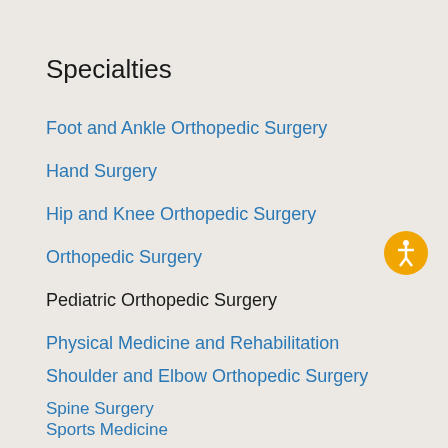Specialties
Foot and Ankle Orthopedic Surgery
Hand Surgery
Hip and Knee Orthopedic Surgery
Orthopedic Surgery
Pediatric Orthopedic Surgery
Physical Medicine and Rehabilitation
Shoulder and Elbow Orthopedic Surgery
Spine Surgery
Sports Medicine
Trauma Surgery